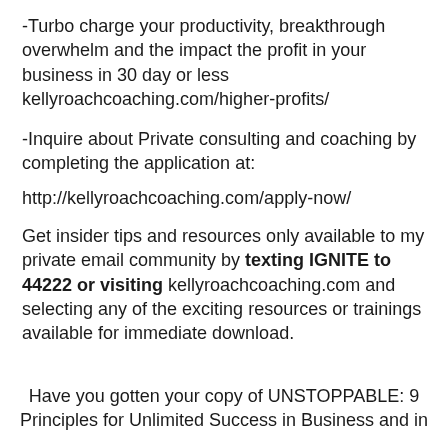-Turbo charge your productivity, breakthrough overwhelm and the impact the profit in your business in 30 day or less kellyroachcoaching.com/higher-profits/
-Inquire about Private consulting and coaching by completing the application at:
http://kellyroachcoaching.com/apply-now/
Get insider tips and resources only available to my private email community by texting IGNITE to 44222 or visiting kellyroachcoaching.com and selecting any of the exciting resources or trainings available for immediate download.
Have you gotten your copy of UNSTOPPABLE: 9 Principles for Unlimited Success in Business and in